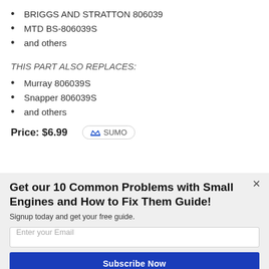BRIGGS AND STRATTON 806039
MTD BS-806039S
and others
THIS PART ALSO REPLACES:
Murray 806039S
Snapper 806039S
and others
Price: $6.99
Get our 10 Common Problems with Small Engines and How to Fix Them Guide!
Signup today and get your free guide.
Enter your Email
Subscribe Now